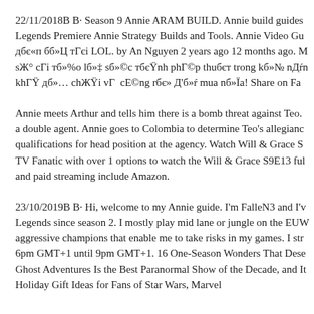22/11/2018В В· Season 9 Annie ARAM BUILD. Annie build guides Legends Premiere Annie Strategy Builds and Tools. Annie Video Gu дбє«п бб»Ц тГєі LOL. by An Nguyen 2 years ago 12 months ago. M sЖ° сГі тб»%о lб»‡ sб»©с тбєŸnh phГ©р thuбєт trong kб»№ nДŕn khГŸ дб»… chЖŸі vГ  cЕ©ng rбє» Д'б»ŕ mua nб»Їа! Share on Fac
Annie meets Arthur and tells him there is a bomb threat against Teo. a double agent. Annie goes to Colombia to determine Teo's allegianc qualifications for head position at the agency. Watch Will & Grace S TV Fanatic with over 1 options to watch the Will & Grace S9E13 ful and paid streaming include Amazon.
23/10/2019В В· Hi, welcome to my Annie guide. I'm FalleN3 and I'v Legends since season 2. I mostly play mid lane or jungle on the EUW aggressive champions that enable me to take risks in my games. I str 6pm GMT+1 until 9pm GMT+1. 16 One-Season Wonders That Dese Ghost Adventures Is the Best Paranormal Show of the Decade, and It Holiday Gift Ideas for Fans of Star Wars, Marvel